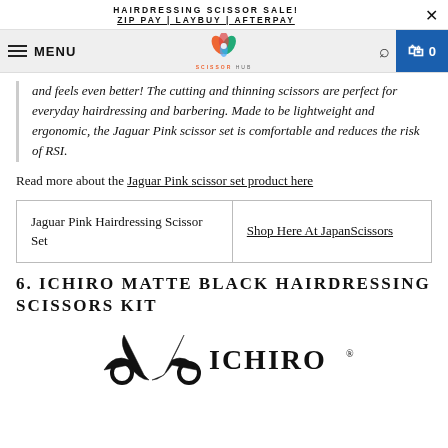HAIRDRESSING SCISSOR SALE! ZIP PAY | LAYBUY | AFTERPAY
and feels even better! The cutting and thinning scissors are perfect for everyday hairdressing and barbering. Made to be lightweight and ergonomic, the Jaguar Pink scissor set is comfortable and reduces the risk of RSI.
Read more about the Jaguar Pink scissor set product here
| Jaguar Pink Hairdressing Scissor Set | Shop Here At JapanScissors |
6. ICHIRO MATTE BLACK HAIRDRESSING SCISSORS KIT
[Figure (logo): Ichiro scissors brand logo with scissor graphic and ICHIRO text]